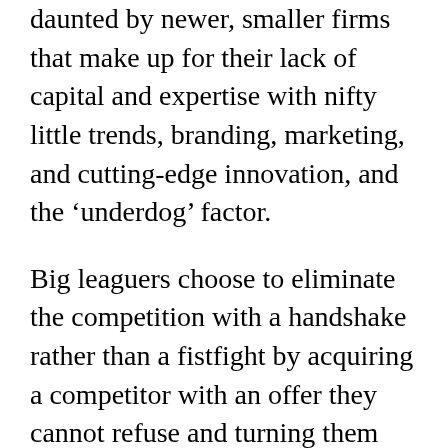daunted by newer, smaller firms that make up for their lack of capital and expertise with nifty little trends, branding, marketing, and cutting-edge innovation, and the ‘underdog’ factor.
Big leaguers choose to eliminate the competition with a handshake rather than a fistfight by acquiring a competitor with an offer they cannot refuse and turning them into a subsidiary or partner, coining the business phenomenon of a roll-up merger. Forming a larger entity helps companies retain a robust competitive edge and integrate their resources more efficiently, reduce operational costs, increase revenues, earn a substantial